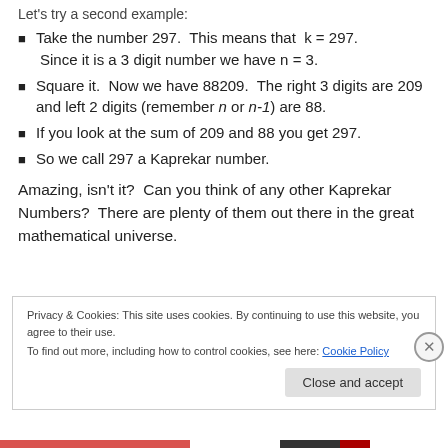Let's try a second example:
Take the number 297.  This means that  k = 297.  Since it is a 3 digit number we have n = 3.
Square it.  Now we have 88209.  The right 3 digits are 209 and left 2 digits (remember n or n-1) are 88.
If you look at the sum of 209 and 88 you get 297.
So we call 297 a Kaprekar number.
Amazing, isn't it?  Can you think of any other Kaprekar Numbers?  There are plenty of them out there in the great mathematical universe.
Privacy & Cookies: This site uses cookies. By continuing to use this website, you agree to their use.
To find out more, including how to control cookies, see here: Cookie Policy